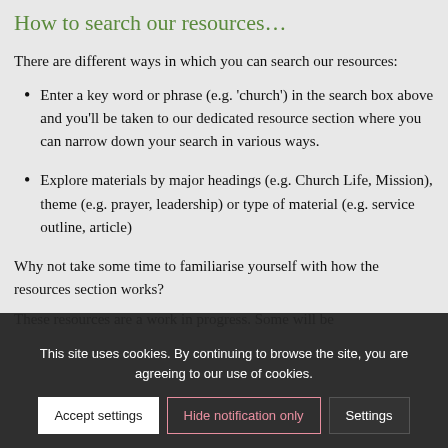How to search our resources…
There are different ways in which you can search our resources:
Enter a key word or phrase (e.g. 'church') in the search box above and you'll be taken to our dedicated resource section where you can narrow down your search in various ways.
Explore materials by major headings (e.g. Church Life, Mission), theme (e.g. prayer, leadership) or type of material (e.g. service outline, article)
Why not take some time to familiarise yourself with how the resources section works?
These resources are a work in progress. Some will be
This site uses cookies. By continuing to browse the site, you are agreeing to our use of cookies.
Accept settings | Hide notification only | Settings